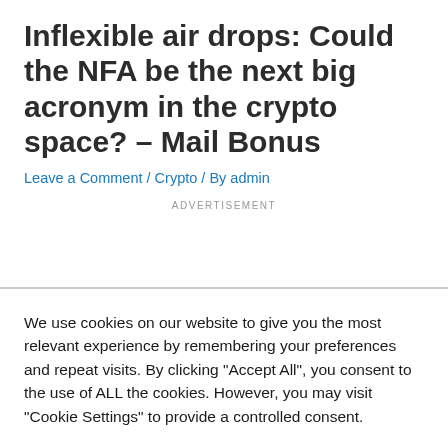Inflexible air drops: Could the NFA be the next big acronym in the crypto space? – Mail Bonus
Leave a Comment / Crypto / By admin
ADVERTISEMENT
We use cookies on our website to give you the most relevant experience by remembering your preferences and repeat visits. By clicking "Accept All", you consent to the use of ALL the cookies. However, you may visit "Cookie Settings" to provide a controlled consent.